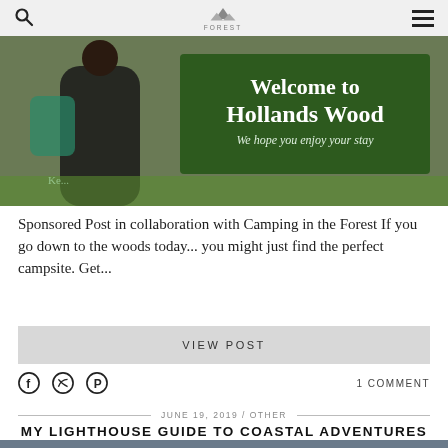Search | FOREST | Menu
[Figure (photo): Woman standing next to a green welcome sign reading 'Welcome to Hollands Wood – We hope you enjoy your stay']
Sponsored Post in collaboration with Camping in the Forest If you go down to the woods today... you might just find the perfect campsite. Get...
VIEW POST
1 COMMENT
JUNE 19, 2019 / OTHER
MY LIGHTHOUSE GUIDE TO COASTAL ADVENTURES IN BRITAIN
[Figure (photo): Coastal/nature scenic photo at bottom of page]